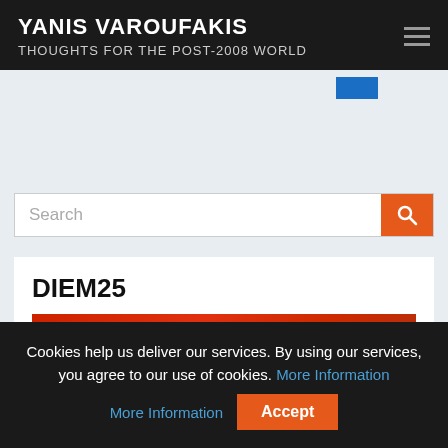YANIS VAROUFAKIS
THOUGHTS FOR THE POST-2008 WORLD
[Figure (screenshot): Search bar with orange search button and gray background area above content]
DIEM25
[Figure (photo): Partial red/orange image at bottom of post card, color gradient]
Cookies help us deliver our services. By using our services, you agree to our use of cookies. More Information
Accept